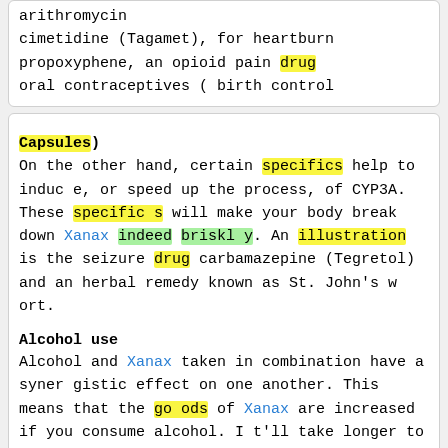arithromycin
cimetidine (Tagamet), for heartburn
propoxyphene, an opioid pain drug
oral contraceptives ( birth control
Capsules)
On the other hand, certain specifics help to induce, or speed up the process, of CYP3A. These specifics will make your body break down Xanax indeed briskly. An illustration is the seizure drug carbamazepine (Tegretol) and an herbal remedy known asSt. John’s wort.
Alcohol use
Alcohol and Xanax taken in combination have a synergistic effect on one another. This means that the goods of Xanax are increased if you consume alcohol. It'll take longer to clear Xanax from your body. Combining alcohol with Xanax can lead to dangerous side goods, including the possibility of a fatal overdos